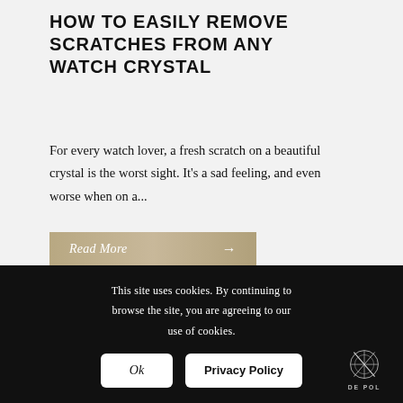HOW TO EASILY REMOVE SCRATCHES FROM ANY WATCH CRYSTAL
For every watch lover, a fresh scratch on a beautiful crystal is the worst sight. It's a sad feeling, and even worse when on a...
Read More →
This site uses cookies. By continuing to browse the site, you are agreeing to our use of cookies.
Ok
Privacy Policy
[Figure (logo): De Pol brand logo with compass/watch tool graphic and text 'DE POL']